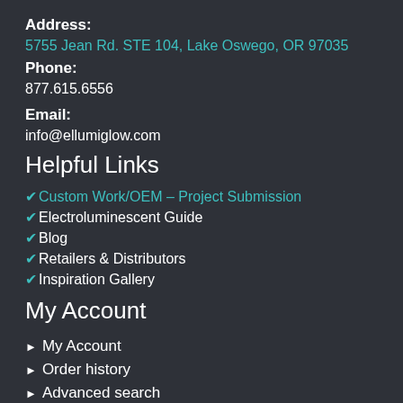Address:
5755 Jean Rd. STE 104, Lake Oswego, OR 97035
Phone:
877.615.6556
Email:
info@ellumiglow.com
Helpful Links
Custom Work/OEM – Project Submission
Electroluminescent Guide
Blog
Retailers & Distributors
Inspiration Gallery
My Account
My Account
Order history
Advanced search
Login